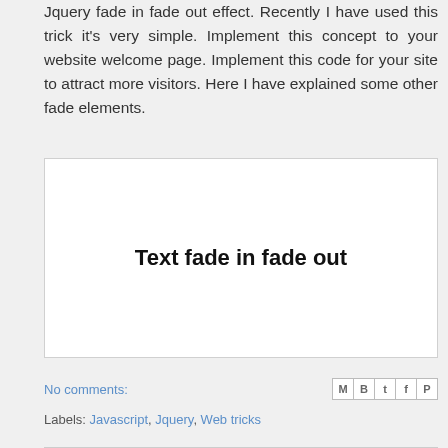Jquery fade in fade out effect. Recently I have used this trick it's very simple. Implement this concept to your website welcome page. Implement this code for your site to attract more visitors. Here I have explained some other fade elements.
[Figure (screenshot): A white demo box with bold text reading 'Text fade in fade out' centered inside it, with a light gray border.]
No comments:
[Figure (infographic): Social share icons: email (M), Blogger (B), Twitter (t), Facebook (f), Pinterest (P)]
Labels: Javascript, Jquery, Web tricks